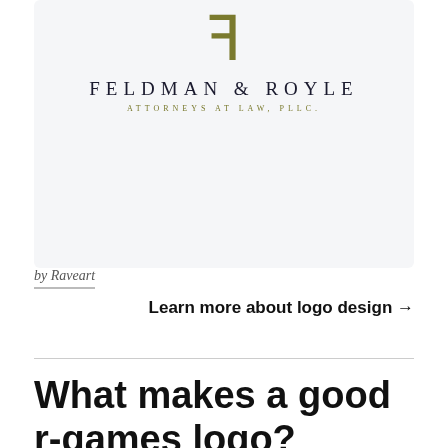[Figure (logo): Feldman & Royle Attorneys at Law PLLC law firm logo with stylized golden letter F and firm name in spaced serif capitals on light gray background]
by Raveart
Learn more about logo design →
What makes a good r-games logo?